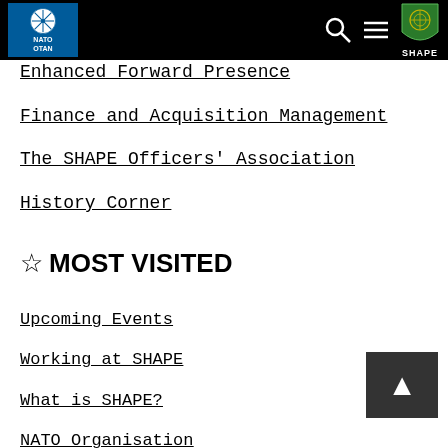NATO OTAN SHAPE - Supreme Headquarters Allied Powers Europe
Enhanced Forward Presence
Finance and Acquisition Management
The SHAPE Officers' Association
History Corner
☆ MOST VISITED
Upcoming Events
Working at SHAPE
What is SHAPE?
NATO Organisation
NATO Mission in Kosovo (KFOR)
News Releases